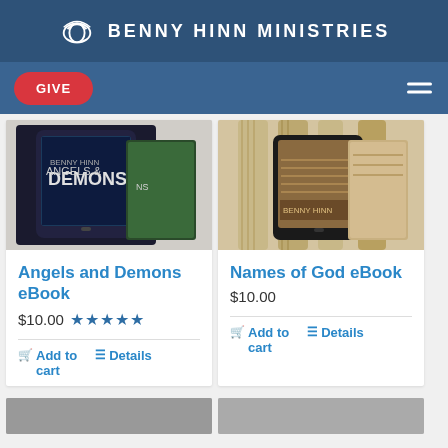BENNY HINN MINISTRIES
GIVE
[Figure (photo): Angels and Demons eBook product image showing tablet and book covers]
Angels and Demons eBook
$10.00 ★★★★★
Add to cart   Details
[Figure (photo): Names of God eBook product image showing tablet and book covers with column imagery]
Names of God eBook
$10.00
Add to cart   Details